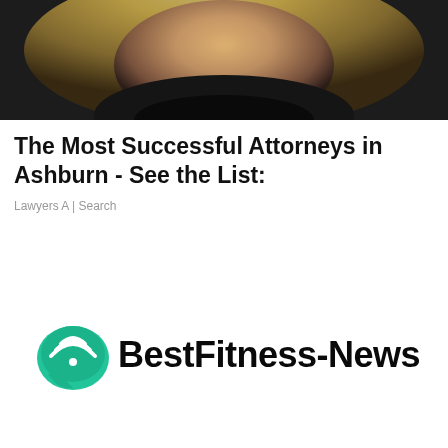[Figure (photo): Close-up photo of a person with blonde hair wearing a dark suit jacket, cropped to show hair and upper torso area]
The Most Successful Attorneys in Ashburn - See the List:
Lawyers A | Search
[Figure (logo): BestFitness-News logo with green speech bubble icon containing wifi-style arc lines on the left and bold black text 'BestFitness-News' on the right]